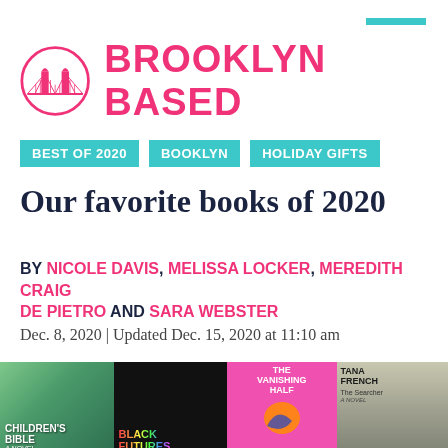[Figure (logo): Brooklyn Based logo: pink Brooklyn Bridge icon in circle, with 'BROOKLYN BASED' text in bold pink]
BEST OF 2020
BOOKLYN
HOLIDAY GIFTS
Our favorite books of 2020
BY NICOLE DAVIS, MELISSA LOCKER, MEREDITH CRAIG DE PIETRO AND SARA WEBSTER
Dec. 8, 2020 | Updated Dec. 15, 2020 at 11:10 am
[Figure (photo): Strip of book covers on magenta background: Children's Bible, Black Futures, The Vanishing Half, Tana French The Searcher]